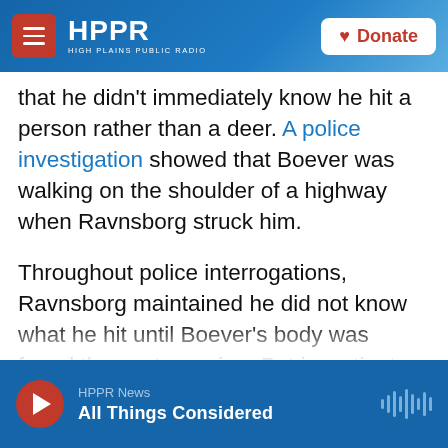HPPR HIGH PLAINS PUBLIC RADIO | Donate
that he didn't immediately know he hit a person rather than a deer. A police investigation showed that Boever was walking on the shoulder of a highway when Ravnsborg struck him.
Throughout police interrogations, Ravnsborg maintained he did not know what he hit until Boever's body was found the next morning. But investigators told Ravnsborg that Boever's face went through his windshield. Boever's glasses were found inside Ravnsborg's car.
"Again, why would a man be walking down the road?" Ravnsborg asked North Dakota
HPPR News | All Things Considered